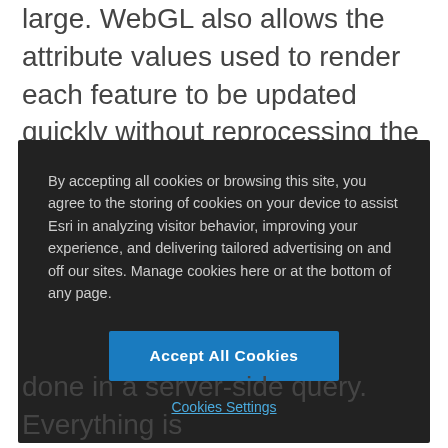large. WebGL also allows the attribute values used to render each feature to be updated quickly without reprocessing the geometries, eliminating noticeable artifacts or flashing.
By accepting all cookies or browsing this site, you agree to the storing of cookies on your device to assist Esri in analyzing visitor behavior, improving your experience, and delivering tailored advertising on and off our sites. Manage cookies here or at the bottom of any page.
Accept All Cookies
Cookies Settings
done in a server-side query. Everything is